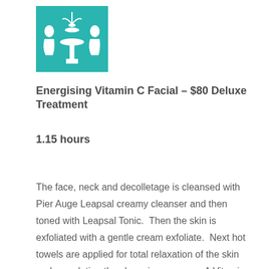[Figure (logo): Teal/turquoise square logo with white fountain or vase silhouette in center, with white figure silhouettes on sides]
Energising Vitamin C Facial – $80 Deluxe Treatment
1.15 hours
The face, neck and decolletage is cleansed with Pier Auge Leapsal creamy cleanser and then toned with Leapsal Tonic.  Then the skin is exfoliated with a gentle cream exfoliate.  Next hot towels are applied for total relaxation of the skin and completing the cleansing process.  A Vitamin C serum is applied followed by a lovely relaxing